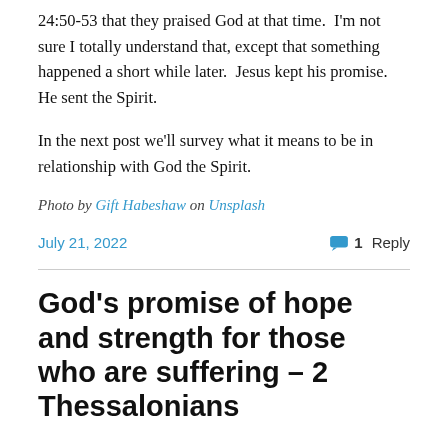24:50-53 that they praised God at that time.  I'm not sure I totally understand that, except that something happened a short while later.  Jesus kept his promise.  He sent the Spirit.
In the next post we'll survey what it means to be in relationship with God the Spirit.
Photo by Gift Habeshaw on Unsplash
July 21, 2022   1 Reply
God's promise of hope and strength for those who are suffering – 2 Thessalonians